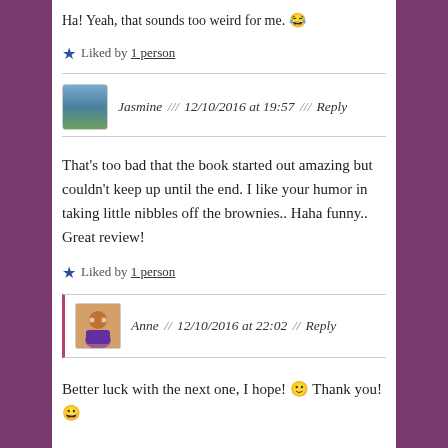Ha! Yeah, that sounds too weird for me. 😂
★ Liked by 1 person
Jasmine // 12/10/2016 at 19:57 // Reply
That's too bad that the book started out amazing but couldn't keep up until the end. I like your humor in taking little nibbles off the brownies.. Haha funny.. Great review!
★ Liked by 1 person
Anne // 12/10/2016 at 22:02 // Reply
Better luck with the next one, I hope! 🙂 Thank you! 😀